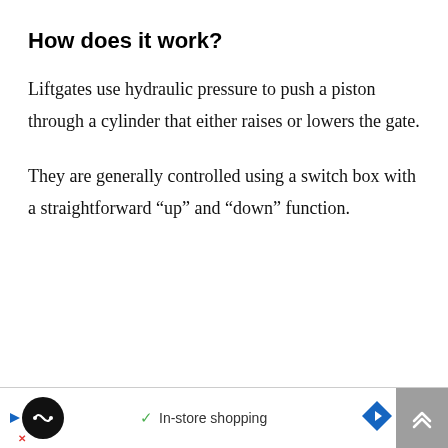How does it work?
Liftgates use hydraulic pressure to push a piston through a cylinder that either raises or lowers the gate.
They are generally controlled using a switch box with a straightforward “up” and “down” function.
In-store shopping [advertisement banner]